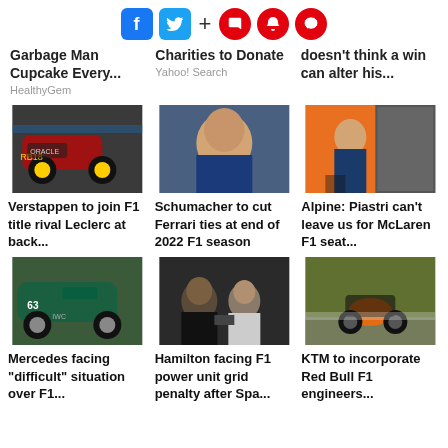[Figure (infographic): Social media share/follow icons: Facebook, Twitter, plus sign, bookmark, bell, chat bubble (red)]
Garbage Man Cupcake Every...
HealthyGem
Charities to Donate
Yahoo! Search
doesn't think a win can alter his...
[Figure (photo): Red Bull F1 racing car on track]
Verstappen to join F1 title rival Leclerc at back...
[Figure (photo): Mick Schumacher closeup portrait in blue racing suit]
Schumacher to cut Ferrari ties at end of 2022 F1 season
[Figure (photo): Alpine driver walking outdoors, McLaren orange door in background]
Alpine: Piastri can't leave us for McLaren F1 seat...
[Figure (photo): Mercedes F1 car number 63 on track]
Mercedes facing "difficult" situation over F1...
[Figure (photo): Lewis Hamilton and Alpine engineer Fernando Alonso in conversation at Spa]
Hamilton facing F1 power unit grid penalty after Spa...
[Figure (photo): KTM motorcycle racer on track with Red Bull livery]
KTM to incorporate Red Bull F1 engineers...